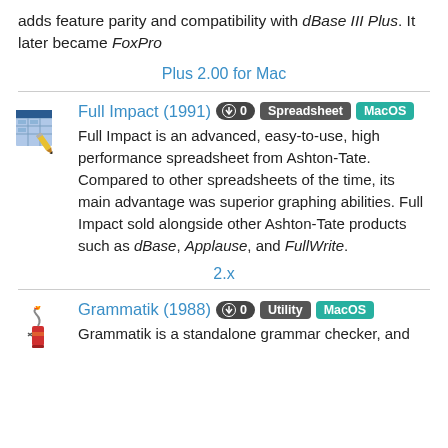adds feature parity and compatibility with dBase III Plus. It later became FoxPro
Plus 2.00 for Mac
Full Impact (1991) 0 Spreadsheet MacOS
Full Impact is an advanced, easy-to-use, high performance spreadsheet from Ashton-Tate. Compared to other spreadsheets of the time, its main advantage was superior graphing abilities. Full Impact sold alongside other Ashton-Tate products such as dBase, Applause, and FullWrite.
2.x
Grammatik (1988) 0 Utility MacOS
Grammatik is a standalone grammar checker, and